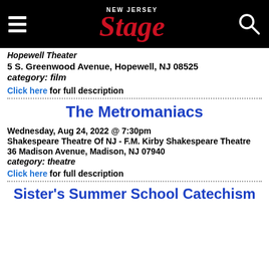New Jersey Stage
Hopewell Theater
5 S. Greenwood Avenue, Hopewell, NJ 08525
category: film
Click here for full description
The Metromaniacs
Wednesday, Aug 24, 2022 @ 7:30pm
Shakespeare Theatre Of NJ - F.M. Kirby Shakespeare Theatre
36 Madison Avenue, Madison, NJ 07940
category: theatre
Click here for full description
Sister's Summer School Catechism